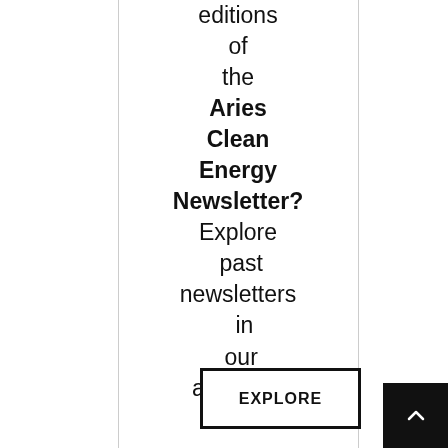editions of the Aries Clean Energy Newsletter? Explore past newsletters in our archives.
[Figure (other): EXPLORE button with black border]
[Figure (other): Back to top button — black square with white upward caret arrow]